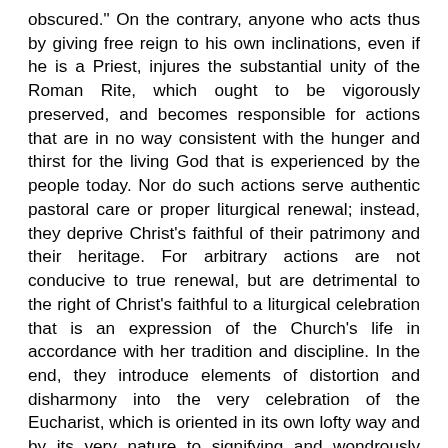obscured." On the contrary, anyone who acts thus by giving free reign to his own inclinations, even if he is a Priest, injures the substantial unity of the Roman Rite, which ought to be vigorously preserved, and becomes responsible for actions that are in no way consistent with the hunger and thirst for the living God that is experienced by the people today. Nor do such actions serve authentic pastoral care or proper liturgical renewal; instead, they deprive Christ's faithful of their patrimony and their heritage. For arbitrary actions are not conducive to true renewal, but are detrimental to the right of Christ's faithful to a liturgical celebration that is an expression of the Church's life in accordance with her tradition and discipline. In the end, they introduce elements of distortion and disharmony into the very celebration of the Eucharist, which is oriented in its own lofty way and by its very nature to signifying and wondrously bringing about the communion of divine life and the unity of the People of God. The result is uncertainty in matters of doctrine, perplexity and scandal on the part of the People of God, and, almost as a necessary consequence, vigorous opposition, all of which greatly confuse and sadden many of Christ's faithful in this age of ours when Christian life is often